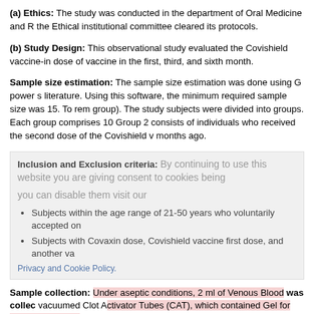(a) Ethics: The study was conducted in the department of Oral Medicine and R the Ethical institutional committee cleared its protocols.
(b) Study Design: This observational study evaluated the Covishield vaccine-in dose of vaccine in the first, third, and sixth month.
Sample size estimation: The sample size estimation was done using G power s literature. Using this software, the minimum required sample size was 15. To rem group). The study subjects were divided into groups. Each group comprises 10 Group 2 consists of individuals who received the second dose of the Covishield v months ago.
Inclusion and Exclusion criteria:
Subjects within the age range of 21-50 years who voluntarily accepted on
Subjects with Covaxin dose, Covishield vaccine first dose, and another va
Sample collection: Under aseptic conditions, 2 ml of Venous Blood was collec vacuumed Clot Activator Tubes (CAT), which contained Gel for serum separation a pipette and stored in a separate container. The samples were stored in a de Chemiluminescent Microparticle Immuno Assay (CMIA). The assay cut-off is ≥50